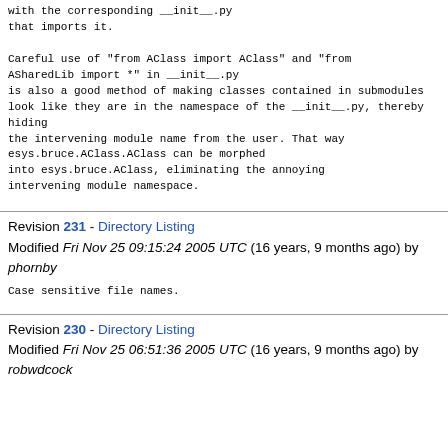with the corresponding __init__.py
that imports it.

Careful use of "from AClass import AClass" and "from
ASharedLib import *" in __init__.py
is also a good method of making classes contained in submodules
look like they are in the namespace of the __init__.py, thereby hiding
the intervening module name from the user. That way
esys.bruce.AClass.AClass can be morphed
into esys.bruce.AClass, eliminating the annoying
intervening module namespace.
Revision 231 - Directory Listing
Modified Fri Nov 25 09:15:24 2005 UTC (16 years, 9 months ago) by phornby
Case sensitive file names.
Revision 230 - Directory Listing
Modified Fri Nov 25 06:51:36 2005 UTC (16 years, 9 months ago) by robwdcock